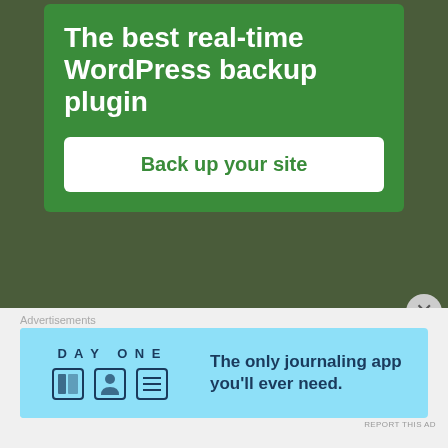[Figure (screenshot): Green advertisement banner for WordPress backup plugin with title 'The best real-time WordPress backup plugin' and a white button reading 'Back up your site']
REPORT THIS AD
Virgo men are loyal, despite the bad reputation they may have earned. These men crave attention but the attention they crave is one that they are successful, helpful, respected, etc. It's not really of a shallow nature, though their vanity does tend to get in their way, and Virgo men embrace aging much like a fading movie star sitting in a botox chair…the fight it every step of the way. But in relationships, they may give you the illusion he has other options,
Advertisements
[Figure (screenshot): Day One journaling app advertisement with light blue background showing app icon, illustrated user icons, and text 'The only journaling app you'll ever need.']
REPORT THIS AD